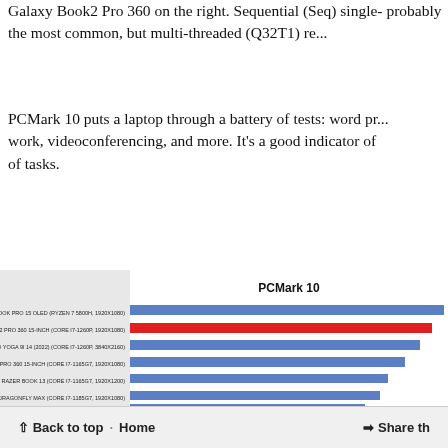Galaxy Book2 Pro 360 on the right. Sequential (Seq) single- probably the most common, but multi-threaded (Q32T1) re...
PCMark 10 puts a laptop through a battery of tests: word pr... work, videoconferencing, and more. It's a good indicator of ... of tasks.
[Figure (bar-chart): PCMark 10]
↑ Back to top · Home   → Share th